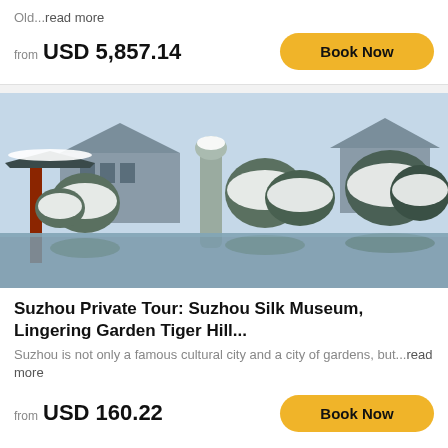Old...read more
from USD 5,857.14
Book Now
[Figure (photo): Snow-covered Chinese classical garden with traditional pavilions, snow-laden trees, and a reflective pond. Suzhou garden in winter.]
Suzhou Private Tour: Suzhou Silk Museum, Lingering Garden Tiger Hill...
Suzhou is not only a famous cultural city and a city of gardens, but...read more
from USD 160.22
Book Now